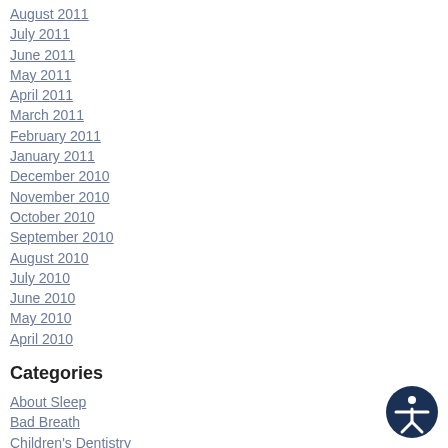August 2011
July 2011
June 2011
May 2011
April 2011
March 2011
February 2011
January 2011
December 2010
November 2010
October 2010
September 2010
August 2010
July 2010
June 2010
May 2010
April 2010
Categories
About Sleep
Bad Breath
Children's Dentistry
[Figure (illustration): Accessibility icon — a circular dark navy badge with a white person figure with arms outstretched]